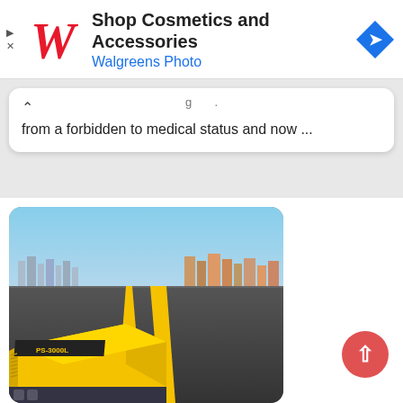[Figure (screenshot): Walgreens advertisement banner with Walgreens cursive logo, text 'Shop Cosmetics and Accessories', 'Walgreens Photo', and a blue navigation diamond icon. Left side has small play and close icons.]
from a forbidden to medical status and now ...
[Figure (photo): Yellow power inverter/converter device sitting on an asphalt road with yellow double center lines stretching to the horizon. City skyline visible in the background under a blue sky.]